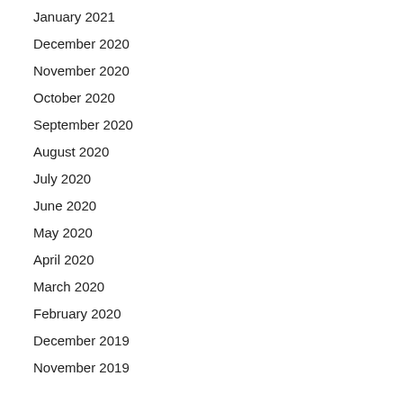January 2021
December 2020
November 2020
October 2020
September 2020
August 2020
July 2020
June 2020
May 2020
April 2020
March 2020
February 2020
December 2019
November 2019